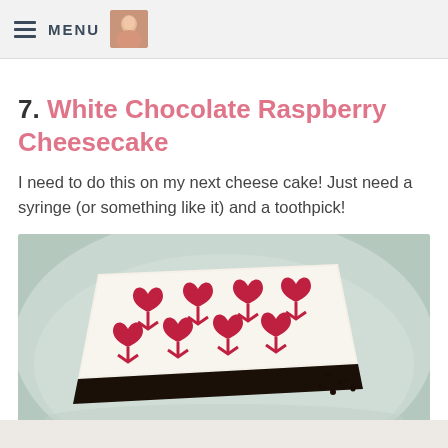MENU
7. White Chocolate Raspberry Cheesecake
I need to do this on my next cheese cake! Just need a syringe (or something like it) and a toothpick!
[Figure (photo): A slice of white chocolate raspberry cheesecake with raspberry sauce decoratively piped in heart/arrow patterns on white surface, dark chocolate crust visible, sitting in a white bowl]